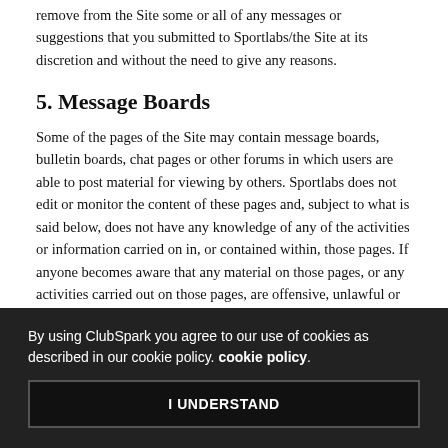remove from the Site some or all of any messages or suggestions that you submitted to Sportlabs/the Site at its discretion and without the need to give any reasons.
5. Message Boards
Some of the pages of the Site may contain message boards, bulletin boards, chat pages or other forums in which users are able to post material for viewing by others. Sportlabs does not edit or monitor the content of these pages and, subject to what is said below, does not have any knowledge of any of the activities or information carried on in, or contained within, those pages. If anyone becomes aware that any material on those pages, or any activities carried out on those pages, are offensive, unlawful or infringe any third party rights in any way, please send an appropriately worded message to the Sportlabs by email using this address: info@sportlabs.com. Sportlabs shall then act expeditiously to remove any such material or to disable access to the information.
By using ClubSpark you agree to our use of cookies as described in our cookie policy. cookie policy.
I UNDERSTAND